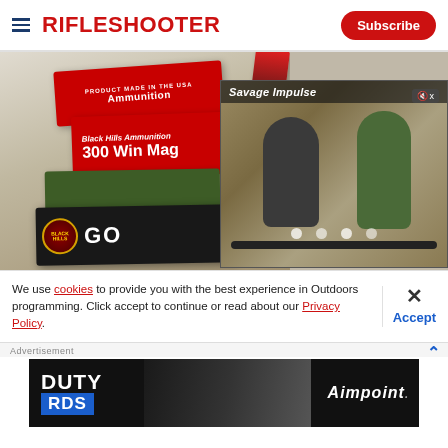RIFLESHOOTER | Subscribe
[Figure (photo): Stacked ammunition boxes including Black Hills Ammunition 300 Win Mag and other brands, with a video overlay showing two people at a shooting range labeled Savage Impulse]
We use cookies to provide you with the best experience in Outdoors programming. Click accept to continue or read about our Privacy Policy.
Advertisement
[Figure (photo): Advertisement banner for Duty RDS by Aimpoint showing a rifle with scope]